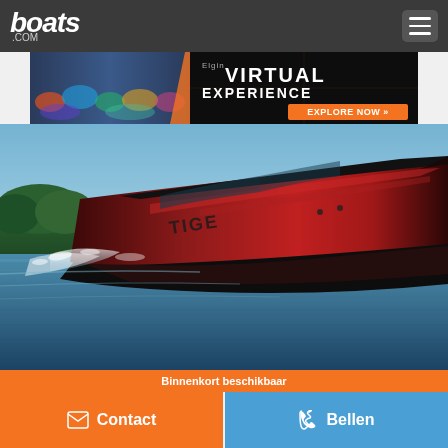boats.com
[Figure (screenshot): Advertisement banner for Elgin Virtual Experience with 'EXPLORE NOW >>' button]
[Figure (photo): Close-up photo of a red and black Tige 20RZX speedboat on the water]
Tige 20RZX 2022
Port Sandfield, Ontario, Canada
Op aanvraag
Binnenkort beschikbaar
Contact
Bellen